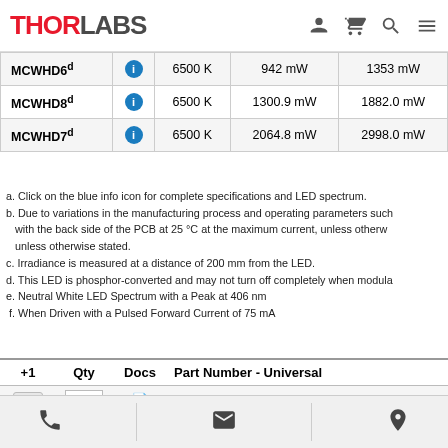THORLABS
| Part Number |  | Color Temp | Min Power | Typical Power |
| --- | --- | --- | --- | --- |
| MCWHD6d | i | 6500 K | 942 mW | 1353 mW |
| MCWHD8d | i | 6500 K | 1300.9 mW | 1882.0 mW |
| MCWHD7d | i | 6500 K | 2064.8 mW | 2998.0 mW |
a. Click on the blue info icon for complete specifications and LED spectrum.
b. Due to variations in the manufacturing process and operating parameters such as with the back side of the PCB at 25 °C at the maximum current, unless otherwise unless otherwise stated.
c. Irradiance is measured at a distance of 200 mm from the LED.
d. This LED is phosphor-converted and may not turn off completely when modula
e. Neutral White LED Spectrum with a Peak at 406 nm
f. When Driven with a Pulsed Forward Current of 75 mA
| +1 | Qty | Docs | Part Number - Universal |  |
| --- | --- | --- | --- | --- |
| +1 |  | doc | MWWHD4 | 3000 K, 1713 mW (Min) LED on M |
| +1 |  | doc | MWUVD1 | 4000 K, 235 mW (Min) LED on M |
| +1 |  | doc | MNWHD2 | 4900 K, 740 mW (Min) LED on M |
| +1 |  | doc | MCWHD5 | 6500 K, 930 mW (Min) LED on M |
| +1 |  | doc | MCWHD6 | 6500 K, 942 mW (Min) LED on M |
Phone | Email | Location